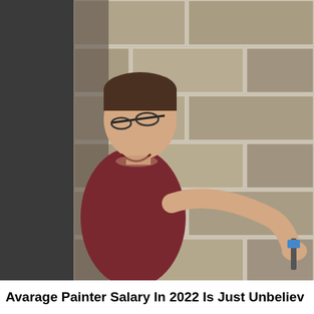[Figure (photo): A man wearing glasses and a dark red shirt leaning forward, carefully working on a rough concrete block wall with a tool. He appears to be a tradesperson or painter applying something to the wall joints.]
Avarage Painter Salary In 2022 Is Just Unbeliev